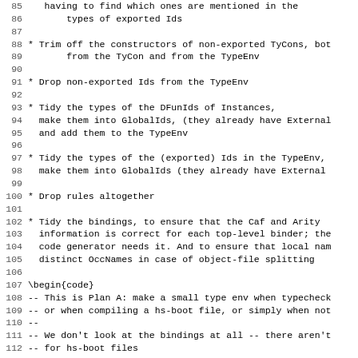85     having to find which ones are mentioned in the types of exported Ids
86         types of exported Ids
87
88 * Trim off the constructors of non-exported TyCons, bot from the TyCon and from the TypeEnv
89         from the TyCon and from the TypeEnv
90
91 * Drop non-exported Ids from the TypeEnv
92
93 * Tidy the types of the DFunIds of Instances, make them into GlobalIds, (they already have External and add them to the TypeEnv
96
97 * Tidy the types of the (exported) Ids in the TypeEnv, make them into GlobalIds (they already have External
99
100 * Drop rules altogether
101
102 * Tidy the bindings, to ensure that the Caf and Arity information is correct for each top-level binder; the code generator needs it. And to ensure that local nam distinct OccNames in case of object-file splitting
106
107 \begin{code}
108 -- This is Plan A: make a small type env when typecheck
109 -- or when compiling a hs-boot file, or simply when not
110 --
111 -- We don't look at the bindings at all -- there aren't
112 -- for hs-boot files
113
114 mkBootModDetailsTc :: HscEnv -> TcGblEnv -> IO ModDetai
115 mkBootModDetailsTc hsc_env
116         TcGblEnv{ tcg_exports  = exports,